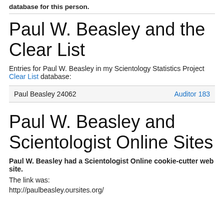database for this person.
Paul W. Beasley and the Clear List
Entries for Paul W. Beasley in my Scientology Statistics Project Clear List database:
| Paul Beasley 24062 | Auditor 183 |
Paul W. Beasley and Scientologist Online Sites
Paul W. Beasley had a Scientologist Online cookie-cutter web site.
The link was:
http://paulbeasley.oursites.org/